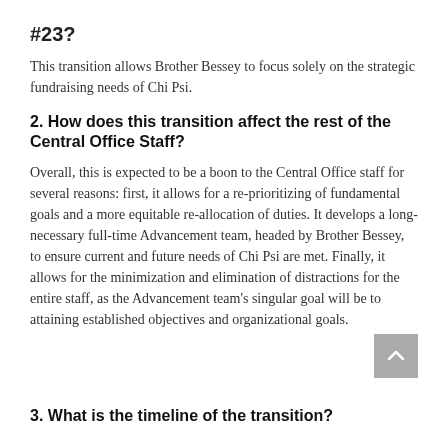#23?
This transition allows Brother Bessey to focus solely on the strategic fundraising needs of Chi Psi.
2. How does this transition affect the rest of the Central Office Staff?
Overall, this is expected to be a boon to the Central Office staff for several reasons: first, it allows for a re-prioritizing of fundamental goals and a more equitable re-allocation of duties. It develops a long-necessary full-time Advancement team, headed by Brother Bessey, to ensure current and future needs of Chi Psi are met. Finally, it allows for the minimization and elimination of distractions for the entire staff, as the Advancement team's singular goal will be to attaining established objectives and organizational goals.
3. What is the timeline of the transition?